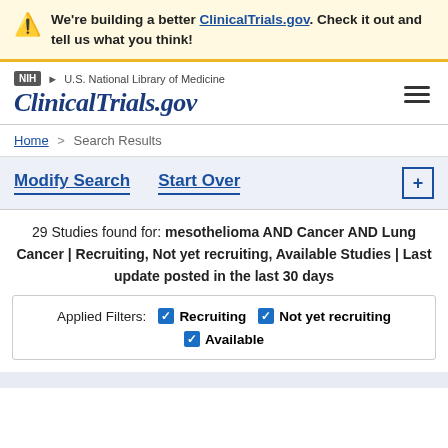We're building a better ClinicalTrials.gov. Check it out and tell us what you think!
NIH | U.S. National Library of Medicine | ClinicalTrials.gov
Home > Search Results
Modify Search   Start Over
29 Studies found for: mesothelioma AND Cancer AND Lung Cancer | Recruiting, Not yet recruiting, Available Studies | Last update posted in the last 30 days
Applied Filters: Recruiting  Not yet recruiting  Available